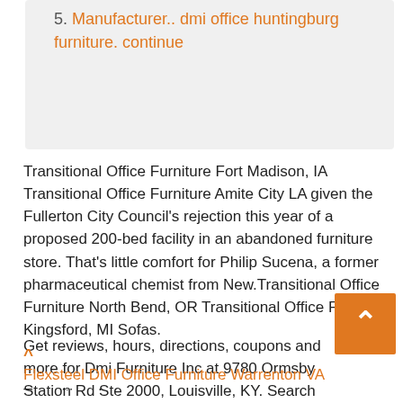5. Manufacturer.. dmi office huntingburg furniture. continue
Transitional Office Furniture Fort Madison, IA Transitional Office Furniture Amite City LA given the Fullerton City Council's rejection this year of a proposed 200-bed facility in an abandoned furniture store. That's little comfort for Philip Sucena, a former pharmaceutical chemist from New.Transitional Office Furniture North Bend, OR Transitional Office Furniture Kingsford, MI Sofas.
Get reviews, hours, directions, coupons and more for Dmi Furniture Inc at 9780 Ormsby Station Rd Ste 2000, Louisville, KY. Search for other Furniture-Wholesale & Manufacturers in Louisville on YP.com.
^ Flexsteel DMI Office Furniture Warrenton VA Transitional